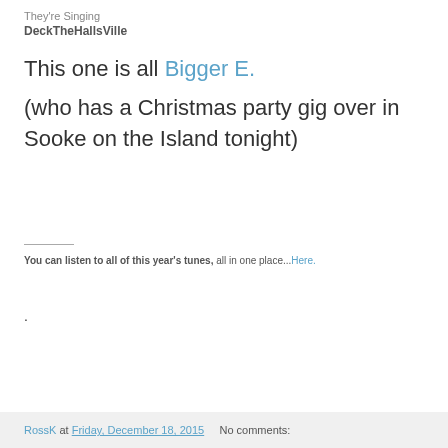They're Singing
DeckTheHallsVille
This one is all Bigger E.
(who has a Christmas party gig over in Sooke on the Island tonight)
You can listen to all of this year's tunes, all in one place...Here.
.
RossK at Friday, December 18, 2015   No comments: